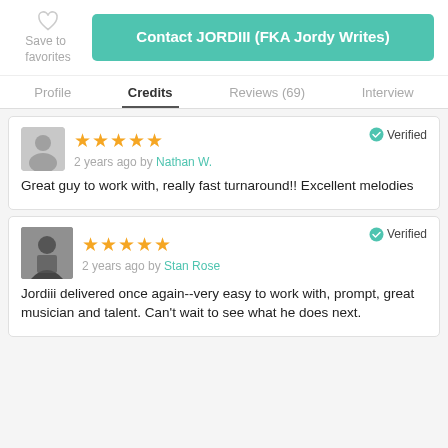Save to favorites
Contact JORDIII (FKA Jordy Writes)
Profile | Credits | Reviews (69) | Interview
2 years ago by Nathan W. — Verified
Great guy to work with, really fast turnaround!! Excellent melodies
2 years ago by Stan Rose — Verified
Jordiii delivered once again--very easy to work with, prompt, great musician and talent. Can't wait to see what he does next.